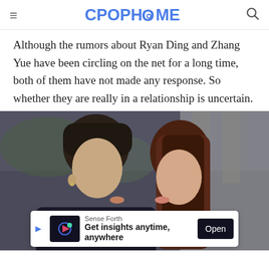CPOPHOME
Although the rumors about Ryan Ding and Zhang Yue have been circling on the net for a long time, both of them have not made any response. So whether they are really in a relationship is uncertain.
[Figure (photo): Two actors in a close romantic scene appearing to kiss, from what appears to be a Chinese drama still. Man on left with dark hair wearing dark top, woman on right with auburn/brown hair.]
Sense Forth
Get insights anytime, anywhere